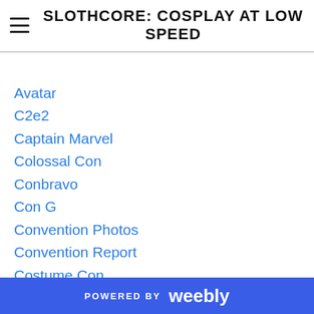SLOTHCORE: COSPLAY AT LOW SPEED
Avatar
C2e2
Captain Marvel
Colossal Con
Conbravo
Con G
Convention Photos
Convention Report
Costume Con
Costume Exhibits
Costume Quest
Crystal Entropy
Fan Expo Canada
Features & Links
Fluttershy
Forest City Comicon
POWERED BY weebly